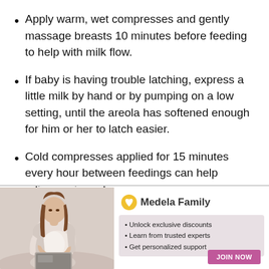Apply warm, wet compresses and gently massage breasts 10 minutes before feeding to help with milk flow.
If baby is having trouble latching, express a little milk by hand or by pumping on a low setting, until the areola has softened enough for him or her to latch easier.
Cold compresses applied for 15 minutes every hour between feedings can help relieve pain and
[Figure (infographic): Medela Family advertisement banner with a photo of a pregnant woman sitting cross-legged looking at a laptop, a Medela Family logo with a golden heart icon, a list of three benefits (Unlock exclusive discounts, Learn from trusted experts, Get personalized support), and a pink JOIN NOW button. A close (X) button appears in the top right corner.]